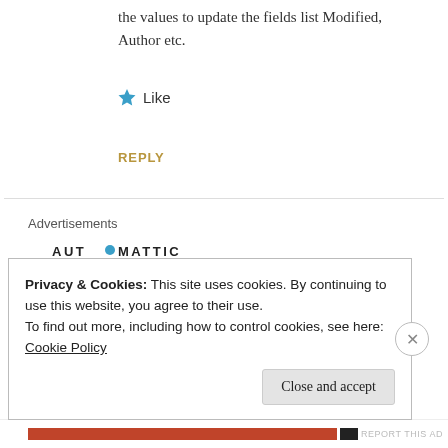the values to update the fields list Modified, Author etc.
Like
REPLY
Advertisements
[Figure (logo): Automattic logo with teal circle dot: AUT⬤MATTIC]
Build a better web and a better world.
REPORT THIS AD
Privacy & Cookies: This site uses cookies. By continuing to use this website, you agree to their use.
To find out more, including how to control cookies, see here: Cookie Policy
Close and accept
REPORT THIS AD